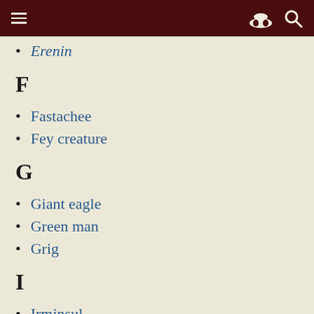≡ [incognito icon] [search icon]
Erenin
F
Fastachee
Fey creature
G
Giant eagle
Green man
Grig
I
Irminsul